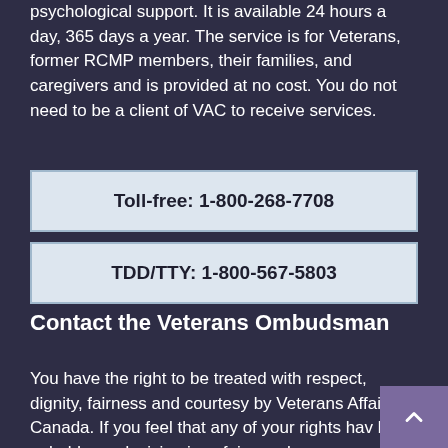psychological support. It is available 24 hours a day, 365 days a year. The service is for Veterans, former RCMP members, their families, and caregivers and is provided at no cost. You do not need to be a client of VAC to receive services.
Toll-free: 1-800-268-7708
TDD/TTY: 1-800-567-5803
Contact the Veterans Ombudsman
You have the right to be treated with respect, dignity, fairness and courtesy by Veterans Affairs Canada. If you feel that any of your rights have been upheld or a decision is unfair, you have...